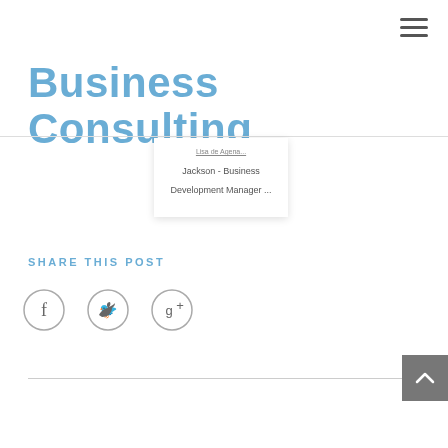Business Consulting
Jackson - Business Development Manager ...
SHARE THIS POST
[Figure (other): Social share icons: Facebook, Twitter, Google+]
[Figure (other): Back to top button with upward chevron arrow]